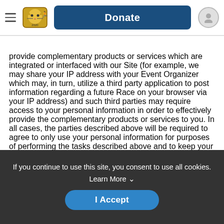Donate
provide complementary products or services which are integrated or interfaced with our Site (for example, we may share your IP address with your Event Organizer which may, in turn, utilize a third party application to post information regarding a future Race on your browser via your IP address) and such third parties may require access to your personal information in order to effectively provide the complementary products or services to you. In all cases, the parties described above will be required to agree to only use your personal information for purposes of performing the tasks described above and to keep your personal information confidential under obligations similar to those in this Privacy Policy.
If you continue to use this site, you consent to use all cookies. Learn More ∨
I Accept